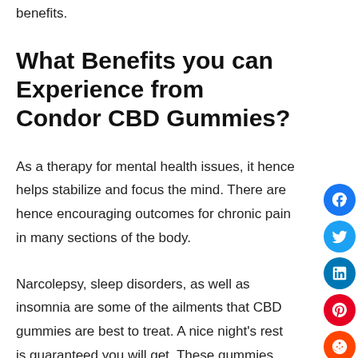benefits.
What Benefits you can Experience from Condor CBD Gummies?
As a therapy for mental health issues, it hence helps stabilize and focus the mind. There are hence encouraging outcomes for chronic pain in many sections of the body.
Narcolepsy, sleep disorders, as well as insomnia are some of the ailments that CBD gummies are best to treat. A nice night’s rest is guaranteed you will get. These gummies can hence rapidly enhance your